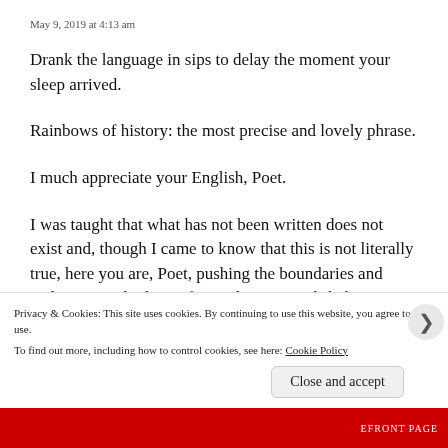May 9, 2019 at 4:13 am
Drank the language in sips to delay the moment your sleep arrived.
Rainbows of history: the most precise and lovely phrase.
I much appreciate your English, Poet.
I was taught that what has not been written does not exist and, though I came to know that this is not literally true, here you are, Poet, pushing the boundaries and making great harbours for exploration and shelter. Because I don't
Privacy & Cookies: This site uses cookies. By continuing to use this website, you agree to their use.
To find out more, including how to control cookies, see here: Cookie Policy
Close and accept